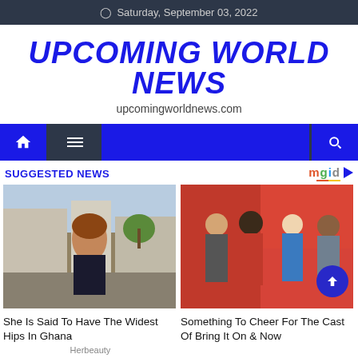Saturday, September 03, 2022
UPCOMING WORLD NEWS
upcomingworldnews.com
[Figure (screenshot): Navigation bar with home icon, hamburger menu, and search icon on blue/dark background]
SUGGESTED NEWS
[Figure (photo): Woman with curly hair in floral dress standing outdoors in Ghana]
She Is Said To Have The Widest Hips In Ghana
Herbeauty
[Figure (photo): Group of four people posing together, cast of Bring It On]
Something To Cheer For The Cast Of Bring It On & Now